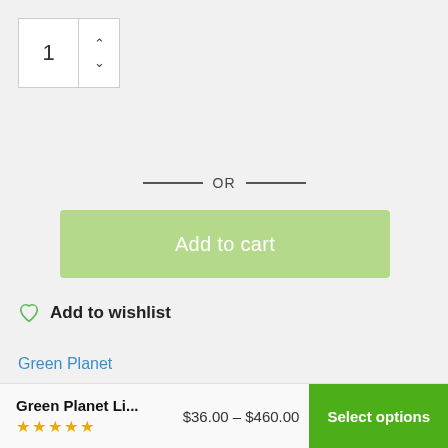[Figure (other): Quantity spinner input box showing value 1 with up and down chevron arrows]
— OR —
[Figure (other): Large light green Add to cart button]
Add to wishlist
Green Planet
Secure and discreet shipping Australia wide
Green Planet Li...  $36.00 – $460.00  ★★★★★  Select options